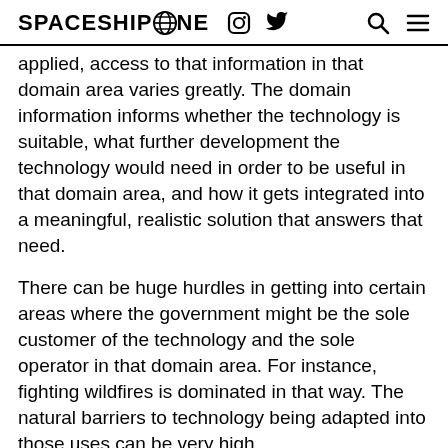SPACESHIP ONE [globe icon] [instagram icon] [twitter icon] [search icon] [menu icon]
But in some areas where technology is to be applied, access to that information in that domain area varies greatly. The domain information informs whether the technology is suitable, what further development the technology would need in order to be useful in that domain area, and how it gets integrated into a meaningful, realistic solution that answers that need.
There can be huge hurdles in getting into certain areas where the government might be the sole customer of the technology and the sole operator in that domain area. For instance, fighting wildfires is dominated in that way. The natural barriers to technology being adapted into those uses can be very high.